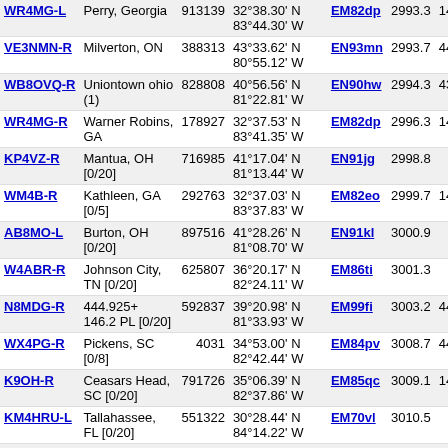| Callsign | Location | ID | Coordinates | Grid | Dist | Freq |
| --- | --- | --- | --- | --- | --- | --- |
| WR4MG-L | Perry, Georgia | 913139 | 32°38.30' N 83°44.30' W | EM82dp | 2993.3 | 146.95 |
| VE3NMN-R | Milverton, ON | 388313 | 43°33.62' N 80°55.12' W | EN93mn | 2993.7 | 444.925 |
| WB8OVQ-R | Uniontown ohio (1) | 828808 | 40°56.56' N 81°22.81' W | EN90hw | 2994.3 | 437.550 |
| WR4MG-R | Warner Robins, GA | 178927 | 32°37.53' N 83°41.35' W | EM82dp | 2996.3 | 147.300 |
| KP4VZ-R | Mantua, OH [0/20] | 716985 | 41°17.04' N 81°13.44' W | EN91jg | 2998.8 |  |
| WM4B-R | Kathleen, GA [0/5] | 292763 | 32°37.03' N 83°37.83' W | EM82eo | 2999.7 | 146.670 |
| AB8MO-L | Burton, OH [0/20] | 897516 | 41°28.26' N 81°08.70' W | EN91kl | 3000.9 |  |
| W4ABR-R | Johnson City, TN [0/20] | 625807 | 36°20.17' N 82°24.11' W | EM86ti | 3001.3 |  |
| N8MDG-R | 444.925+ 146.2 PL [0/20] | 592837 | 39°20.98' N 81°33.93' W | EM99fi | 3003.2 | 444.925 |
| WX4PG-R | Pickens, SC [0/8] | 4031 | 34°53.00' N 82°42.44' W | EM84pv | 3008.7 | 443.450 |
| K9OH-R | Ceasars Head, SC [0/20] | 791726 | 35°06.39' N 82°37.86' W | EM85qc | 3009.1 | 145.470 |
| KM4HRU-L | Tallahassee, FL [0/20] | 551322 | 30°28.44' N 84°14.22' W | EM70vl | 3010.5 |  |
| VE3ERC-L | Elmira, Ontario, Canada | 993792 | 43°35.42' N 80°33.48' W | EN93ro | 3011.4 | 444.700 |
| VE3ERC-R | Elmira, Ontario, | 674040 | 43°35.42' N | EN93ro | 3011.4 | 147.390 |